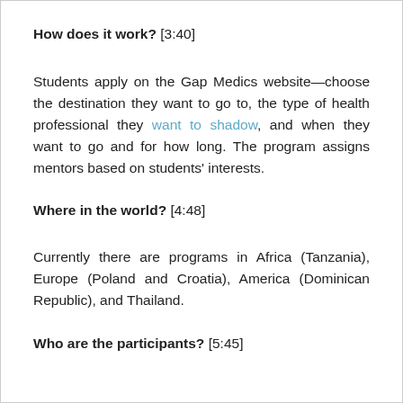How does it work? [3:40]
Students apply on the Gap Medics website—choose the destination they want to go to, the type of health professional they want to shadow, and when they want to go and for how long. The program assigns mentors based on students' interests.
Where in the world? [4:48]
Currently there are programs in Africa (Tanzania), Europe (Poland and Croatia), America (Dominican Republic), and Thailand.
Who are the participants? [5:45]